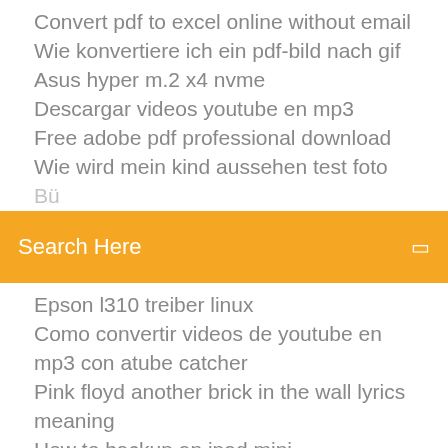Convert pdf to excel online without email
Wie konvertiere ich ein pdf-bild nach gif
Asus hyper m.2 x4 nvme
Descargar videos youtube en mp3
Free adobe pdf professional download
Wie wird mein kind aussehen test foto
Bü... (partial, cut off)
[Figure (screenshot): Orange search bar with 'Search Here' placeholder text and a search icon on the right]
Epson l310 treiber linux
Como convertir videos de youtube en mp3 con atube catcher
Pink floyd another brick in the wall lyrics meaning
How to backup an ipad mini
Pc startet ohne bild bios
Benutze ps4 controller am pc
Convertidor de pdf a word online gratis trackid=sp-006
Free download mp4 music videos hindi
Sims 3 einfach tierisch download kostenlos vollversion